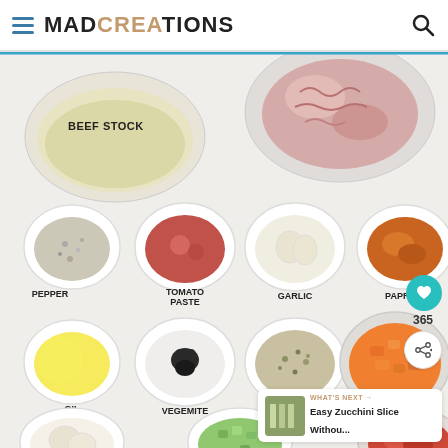MAD CREATIONS
[Figure (photo): Flat-lay overhead photo of cooking ingredients in white bowls on a light marble/white surface. Ingredients labeled: BEEF STOCK (glass measuring cup, top left), BEEF MINCE (plate, top right), PEPPER (small bowl), TOMATO PASTE (small bowl), GARLIC (small bowl), PAPRIKA (small bowl), OIL (small bowl, yellow oil), VEGEMITE (small bowl with cow logo), ITALIAN SEASONING (small bowl), CARROT (glass bowl, orange chopped carrots), ONION (bottom left bowl), CELERY (bottom center bowl, green chopped), TOMATO (bottom right bowl, red).]
BEEF STOCK
BEEF MINCE
PEPPER
TOMATO PASTE
GARLIC
PAPRIKA
OIL
VEGEMITE
ITALIAN SEASONING
CARROT
365
WHAT'S NEXT → Easy Zucchini Slice Withou...